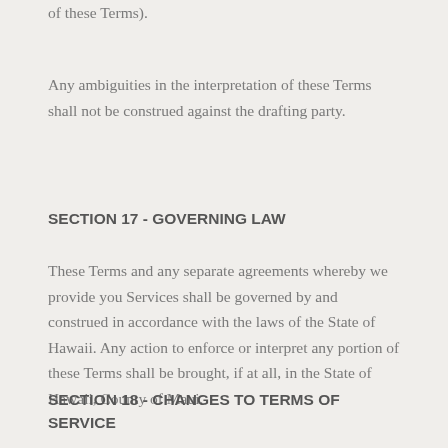of these Terms).
Any ambiguities in the interpretation of these Terms shall not be construed against the drafting party.
SECTION 17 - GOVERNING LAW
These Terms and any separate agreements whereby we provide you Services shall be governed by and construed in accordance with the laws of the State of Hawaii.  Any action to enforce or interpret any portion of these Terms shall be brought, if at all, in the State of Hawaii, County of Maui.
SECTION 18 - CHANGES TO TERMS OF SERVICE